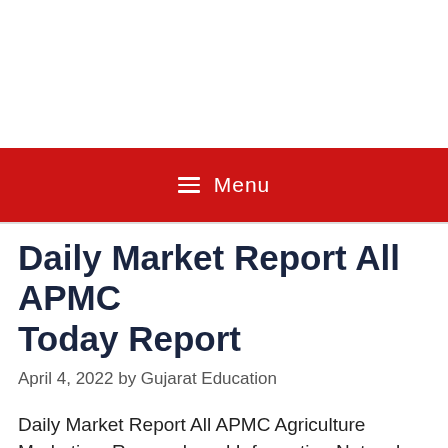Menu
Daily Market Report All APMC Today Report
April 4, 2022 by Gujarat Education
Daily Market Report All APMC Agriculture Marketing: Research and Information Network (MRIN) a sub-